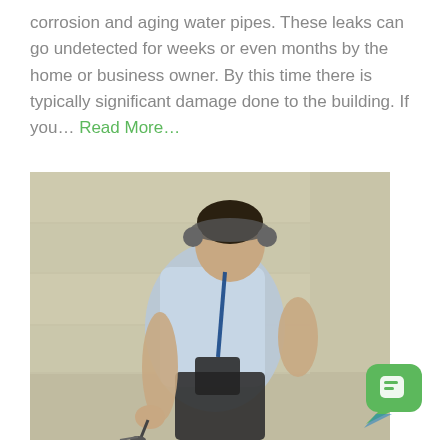corrosion and aging water pipes. These leaks can go undetected for weeks or even months by the home or business owner. By this time there is typically significant damage done to the building. If you… Read More…
[Figure (photo): A man wearing headphones and carrying detection equipment, bending down while using a listening device on the ground to detect water pipe leaks. He is outdoors next to a building wall.]